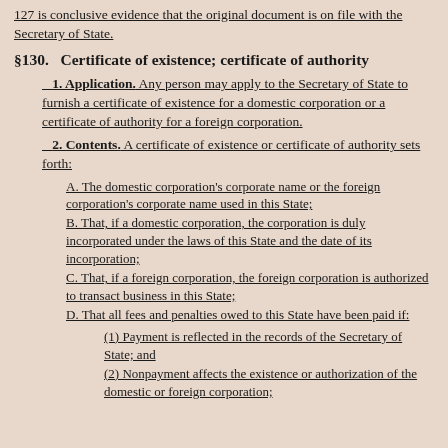127 is conclusive evidence that the original document is on file with the Secretary of State.
§130.   Certificate of existence; certificate of authority
1. Application. Any person may apply to the Secretary of State to furnish a certificate of existence for a domestic corporation or a certificate of authority for a foreign corporation.
2. Contents. A certificate of existence or certificate of authority sets forth:
A. The domestic corporation's corporate name or the foreign corporation's corporate name used in this State;
B. That, if a domestic corporation, the corporation is duly incorporated under the laws of this State and the date of its incorporation;
C. That, if a foreign corporation, the foreign corporation is authorized to transact business in this State;
D. That all fees and penalties owed to this State have been paid if:
(1) Payment is reflected in the records of the Secretary of State; and
(2) Nonpayment affects the existence or authorization of the domestic or foreign corporation;